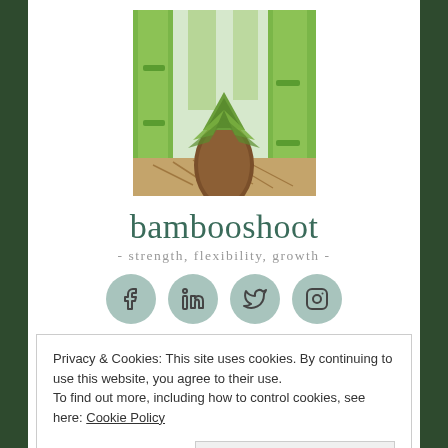[Figure (photo): A bamboo shoot sprouting from the ground surrounded by green bamboo stalks]
bambooshoot
- strength, flexibility, growth -
[Figure (infographic): Four social media icons: Facebook, LinkedIn, Twitter, Instagram — circular teal buttons]
Privacy & Cookies: This site uses cookies. By continuing to use this website, you agree to their use. To find out more, including how to control cookies, see here: Cookie Policy
Close and accept
TAG: FOUNDATION